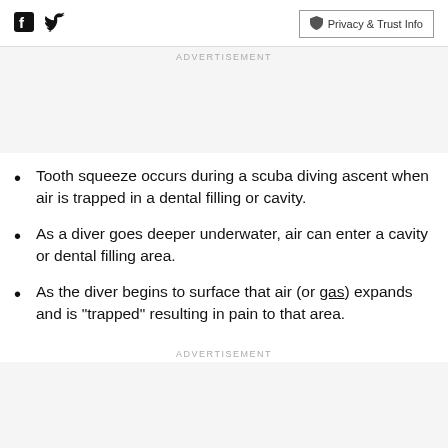Facebook Twitter | Privacy & Trust Info
ADVERTISEMENT
Tooth squeeze occurs during a scuba diving ascent when air is trapped in a dental filling or cavity.
As a diver goes deeper underwater, air can enter a cavity or dental filling area.
As the diver begins to surface that air (or gas) expands and is "trapped" resulting in pain to that area.
ADVERTISEMENT